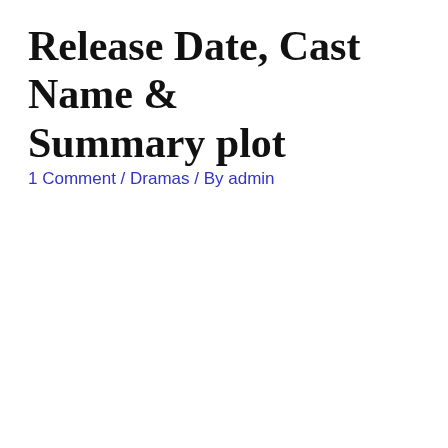Release Date, Cast Name & Summary plot
1 Comment / Dramas / By admin